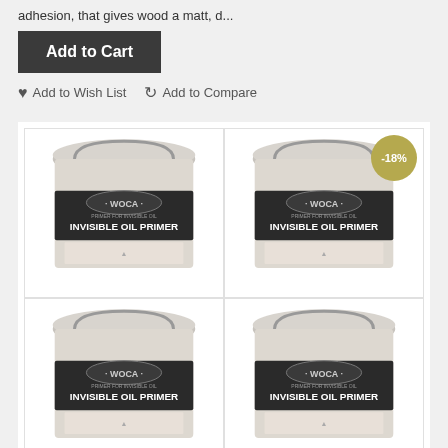adhesion, that gives wood a matt, d...
Add to Cart
♥ Add to Wish List   ↺ Add to Compare
[Figure (photo): Four WOCA Invisible Oil Primer product cans arranged in a 2x2 grid. Top-right can has a -18% discount badge. All cans show the WOCA brand label with 'INVISIBLE OIL PRIMER' text on a dark band, with a light gray lid and metal handle.]